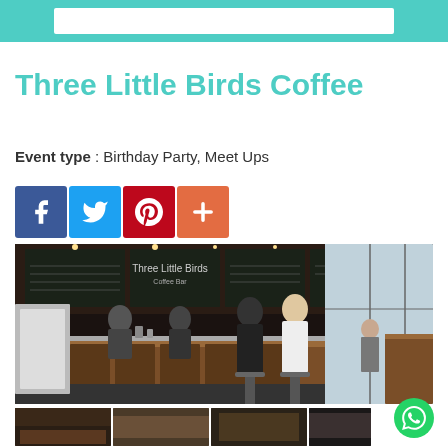Three Little Birds Coffee
Event type : Birthday Party, Meet Ups
[Figure (other): Social media share buttons: Facebook (blue), Twitter (light blue), Pinterest (red), Plus/More (orange-red)]
[Figure (photo): Interior photo of Three Little Birds Coffee cafe showing a wooden bar counter with baristas, chalkboard menu on the wall, customers seated, and shelving with coffee supplies]
[Figure (photo): Row of thumbnail photos of the cafe interior]